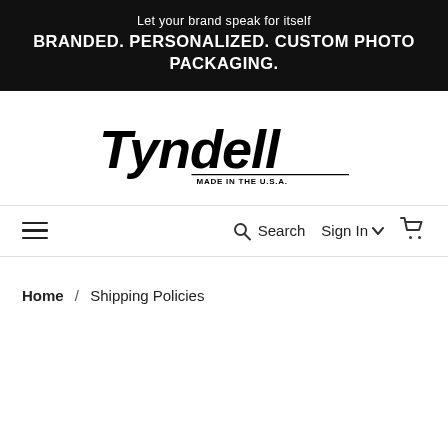Let your brand speak for itself BRANDED. PERSONALIZED. CUSTOM PHOTO PACKAGING.
[Figure (logo): Tyndell logo in bold italic black lettering with 'MADE IN THE U.S.A.' tagline underneath]
≡   Search   Sign In ▾   🛒
Home / Shipping Policies